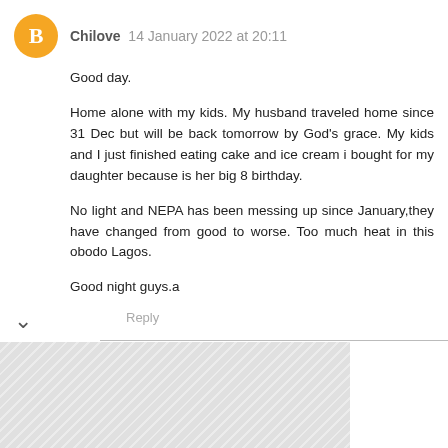[Figure (other): Blogger avatar — orange circle with white letter B]
Chilove  14 January 2022 at 20:11
Good day.

Home alone with my kids. My husband traveled home since 31 Dec but will be back tomorrow by God's grace. My kids and I just finished eating cake and ice cream i bought for my daughter because is her big 8 birthday.

No light and NEPA has been messing up since January,they have changed from good to worse. Too much heat in this obodo Lagos.

Good night guys.a
Reply